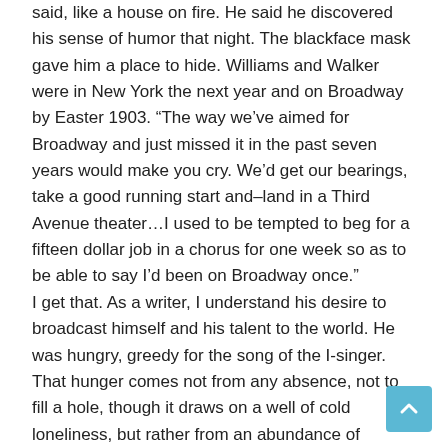said, like a house on fire. He said he discovered his sense of humor that night. The blackface mask gave him a place to hide. Williams and Walker were in New York the next year and on Broadway by Easter 1903. “The way we’ve aimed for Broadway and just missed it in the past seven years would make you cry. We’d get our bearings, take a good running start and–land in a Third Avenue theater…I used to be tempted to beg for a fifteen dollar job in a chorus for one week so as to be able to say I’d been on Broadway once.”
I get that. As a writer, I understand his desire to broadcast himself and his talent to the world. He was hungry, greedy for the song of the I-singer. That hunger comes not from any absence, not to fill a hole, though it draws on a well of cold loneliness, but rather from an abundance of presence, from